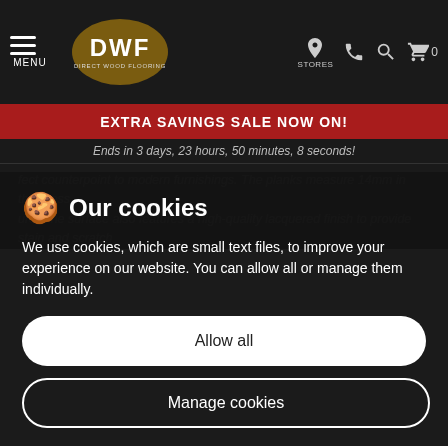DWF Direct Wood Flooring — MENU | STORES
EXTRA SAVINGS SALE NOW ON!
Ends in 3 days, 23 hours, 50 minutes, 8 seconds!
...fect counterpoint to modern furnishings. The planks measure 14mm in thickness...ure. The surface also features a high-quality lacquered finish to provide stain and scratch...
Our cookies
We use cookies, which are small text files, to improve your experience on our website. You can allow all or manage them individually.
Allow all
Manage cookies
...heating. when glued down completely. Otherwise for a floating installation, only the first row needs to be glued. Checkout our accessories section, there you can find the finishing touches for your flooring!
SPECIFICATIONS